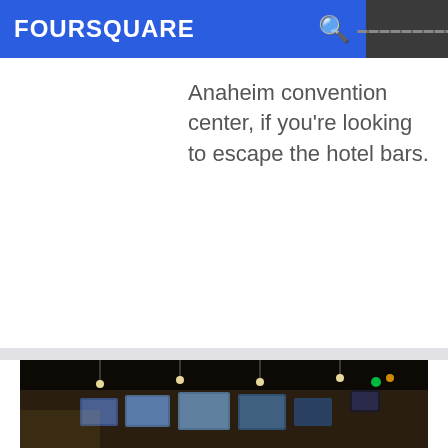FOURSQUARE
Anaheim convention center, if you're looking to escape the hotel bars.
[Figure (photo): Interior photo of Bully's Sports Bar showing bar stools, counters, televisions, and dim lighting]
15. Bully's Sports Bar
3530 N Carson St (College Parkway), ██████████, NV
████ · 6 ████████████████████